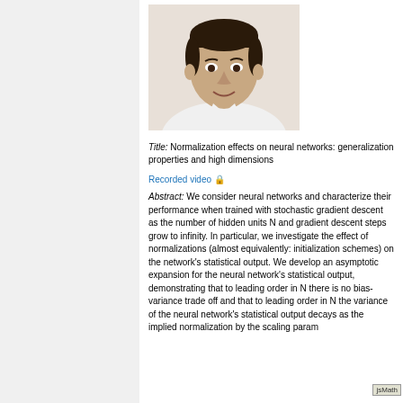[Figure (photo): Headshot photo of a man in a white shirt, smiling slightly, with dark short hair.]
Title: Normalization effects on neural networks: generalization properties and high dimensions
Recorded video 🔒
Abstract: We consider neural networks and characterize their performance when trained with stochastic gradient descent as the number of hidden units N and gradient descent steps grow to infinity. In particular, we investigate the effect of normalizations (almost equivalently: initialization schemes) on the network's statistical output. We develop an asymptotic expansion for the neural network's statistical output, demonstrating that to leading order in N there is no bias-variance trade off and that to leading order in N the variance of the neural network's statistical output decays as the implied normalization by the scaling param